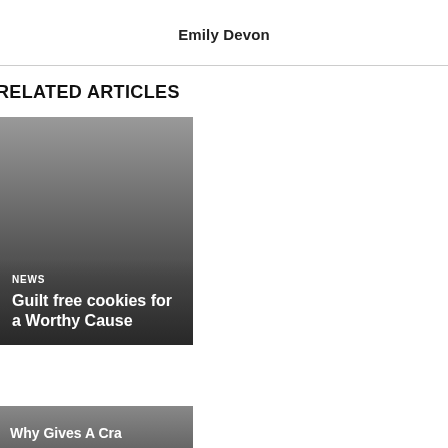Emily Devon
RELATED ARTICLES
[Figure (photo): Article card with gradient overlay showing NEWS category label and article title 'Guilt free cookies for a Worthy Cause']
[Figure (photo): Partially visible second article card at bottom with text 'Why Gives A Cra...' cut off]